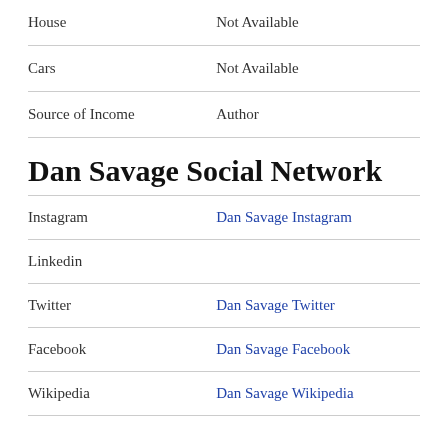| House | Not Available |
| Cars | Not Available |
| Source of Income | Author |
Dan Savage Social Network
| Instagram | Dan Savage Instagram |
| Linkedin |  |
| Twitter | Dan Savage Twitter |
| Facebook | Dan Savage Facebook |
| Wikipedia | Dan Savage Wikipedia |